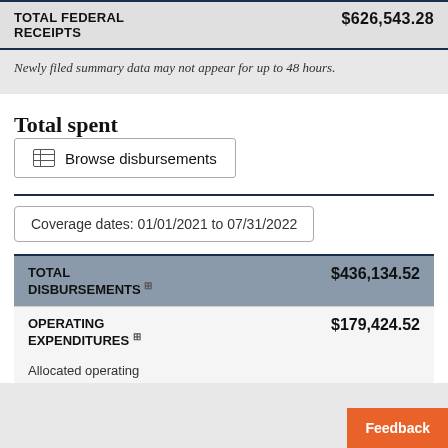|  |  |
| --- | --- |
| TOTAL FEDERAL RECEIPTS | $626,543.28 |
Newly filed summary data may not appear for up to 48 hours.
Total spent
Browse disbursements
Coverage dates: 01/01/2021 to 07/31/2022
| TOTAL DISBURSEMENTS | $436,134.52 |
| --- | --- |
| OPERATING EXPENDITURES | $179,424.52 |
| Allocated operating |  |